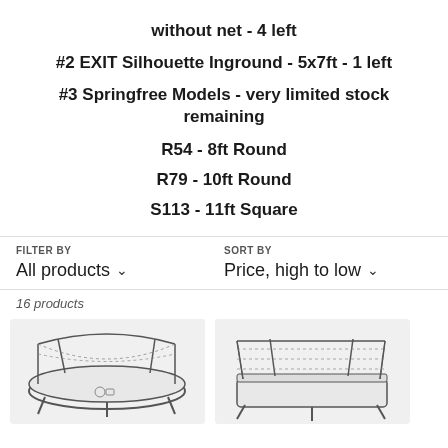without net - 4 left
#2 EXIT Silhouette Inground - 5x7ft - 1 left
#3 Springfree Models - very limited stock remaining
R54 - 8ft Round
R79 - 10ft Round
S113 - 11ft Square
FILTER BY
All products
SORT BY
Price, high to low
16 products
[Figure (photo): Two trampoline product thumbnail images side by side]